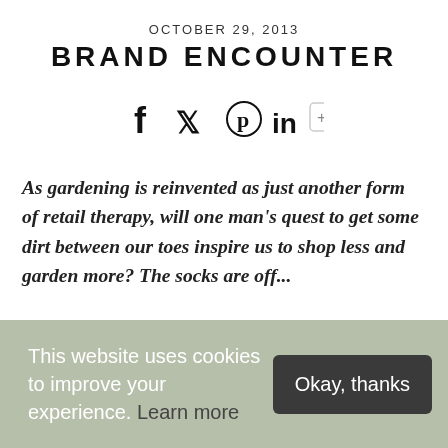OCTOBER 29, 2013
BRAND ENCOUNTER
[Figure (other): Social sharing icons: Facebook (f), Twitter (bird), Pinterest (circle with p), LinkedIn (in), plus button]
As gardening is reinvented as just another form of retail therapy, will one man's quest to get some dirt between our toes inspire us to shop less and garden more? The socks are off...
'Did you have to take it so laterally? When I suggested
This website uses cookies to improve your experience. Learn more
Okay, thanks